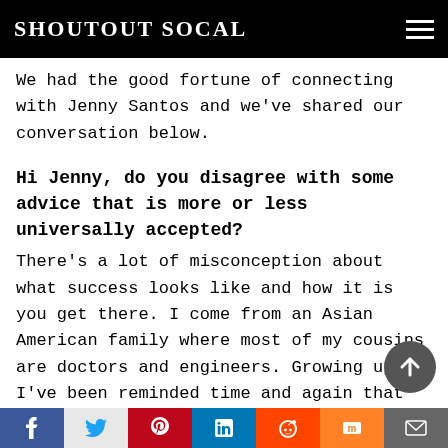SHOUTOUT SOCAL
We had the good fortune of connecting with Jenny Santos and we've shared our conversation below.
Hi Jenny, do you disagree with some advice that is more or less universally accepted?
There's a lot of misconception about what success looks like and how it is you get there. I come from an Asian American family where most of my cousins are doctors and engineers. Growing up, I've been reminded time and again that the golden ticket to success is a secure job, at a big name company. If I follow this path, I to can be successful in life then. But I
f  t  p  in  reddit  m  mail